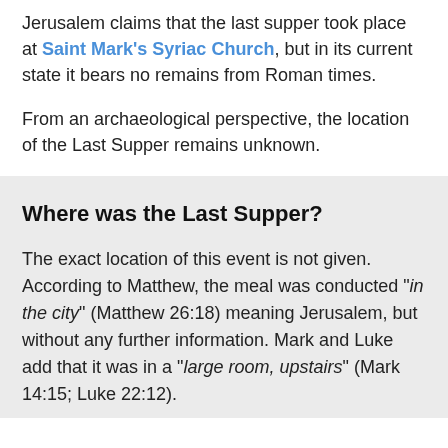Jerusalem claims that the last supper took place at Saint Mark's Syriac Church, but in its current state it bears no remains from Roman times.
From an archaeological perspective, the location of the Last Supper remains unknown.
Where was the Last Supper?
The exact location of this event is not given. According to Matthew, the meal was conducted "in the city" (Matthew 26:18) meaning Jerusalem, but without any further information. Mark and Luke add that it was in a "large room, upstairs" (Mark 14:15; Luke 22:12).